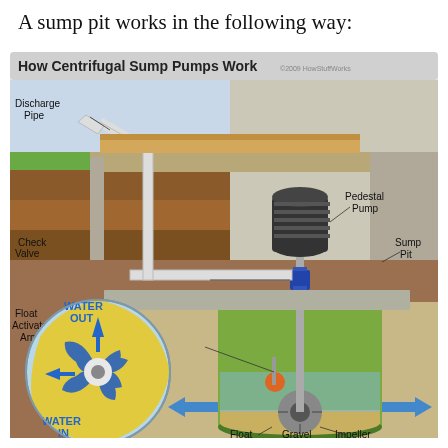A sump pit works in the following way:
[Figure (engineering-diagram): Diagram titled 'How Centrifugal Sump Pumps Work' (©2009 HowStuffWorks) showing a cross-section of a sump pump installation. Labels include: Discharge Pipe (pipe going from underground up through the floor to exterior), Check Valve (on the pipe inside the pit), Float Activator Arm (device inside the green cylindrical sump pit), Pedestal Pump (motor on top of the sump pit), Sump Pit (the cylindrical green container). Bottom labels: Float, Gravel, Impeller. Blue arrows show water flowing in from sides at the base. An inset circular diagram shows the centrifugal impeller mechanism with 'WATER OUT' (arrow pointing up) and 'WATER IN' (arrow pointing toward center), rendered in blue and yellow.]